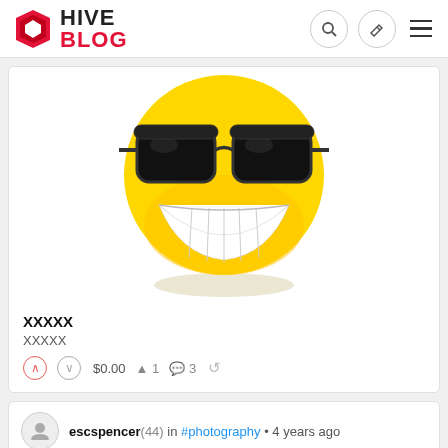HIVE BLOG
[Figure (illustration): Large smiley face emoji with sunglasses, yellow round face, big smile with white teeth, black sunglasses on top]
XXXXX
XXXXX
$0.00  1  3
escspencer (44) in #photography • 4 years ago
[Figure (illustration): Partial smiley face emoji, top portion visible, yellow round face]